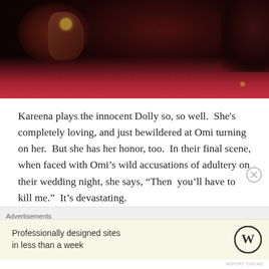[Figure (photo): Close-up dark photo of a person holding their face/hand near their face, wearing a ring, with pink/red fabric visible in the lower portion. Dark, moody lighting.]
Kareena plays the innocent Dolly so, so well.  She's completely loving, and just bewildered at Omi turning on her.  But she has her honor, too.  In their final scene, when faced with Omi’s wild accusations of adultery on their wedding night, she says, “Then  you’ll have to kill me.”  It’s devastating.
Advertisements
Professionally designed sites in less than a week